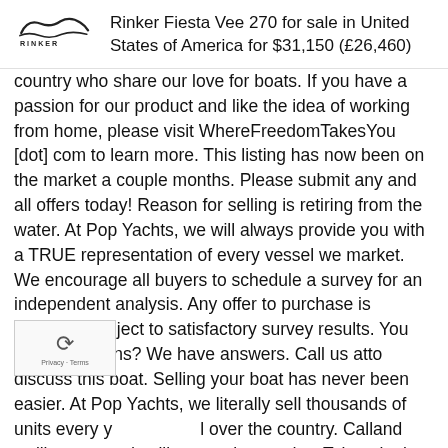Rinker Fiesta Vee 270 for sale in United States of America for $31,150 (£26,460)
country who share our love for boats. If you have a passion for our product and like the idea of working from home, please visit WhereFreedomTakesYou [dot] com to learn more. This listing has now been on the market a couple months. Please submit any and all offers today! Reason for selling is retiring from the water. At Pop Yachts, we will always provide you with a TRUE representation of every vessel we market. We encourage all buyers to schedule a survey for an independent analysis. Any offer to purchase is ALWAYS subject to satisfactory survey results. You have questions? We have answers. Call us atto discuss this boat. Selling your boat has never been easier. At Pop Yachts, we literally sell thousands of units every year all over the country. Calland we'll get started selling your boat today. Take a look at ALL ***39 PICTURES*** of this vessel AND A VIDEO